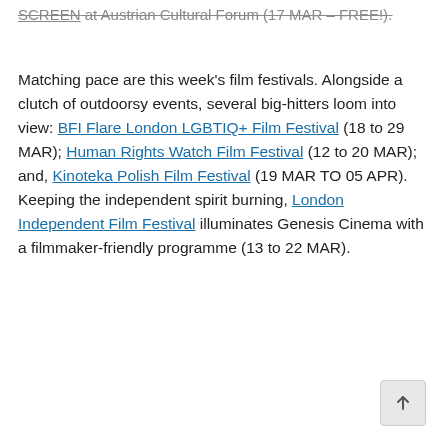SCREEN at Austrian Cultural Forum (17 MAR – FREE!).
Matching pace are this week's film festivals. Alongside a clutch of outdoorsy events, several big-hitters loom into view: BFI Flare London LGBTIQ+ Film Festival (18 to 29 MAR); Human Rights Watch Film Festival (12 to 20 MAR); and, Kinoteka Polish Film Festival (19 MAR TO 05 APR). Keeping the independent spirit burning, London Independent Film Festival illuminates Genesis Cinema with a filmmaker-friendly programme (13 to 22 MAR).